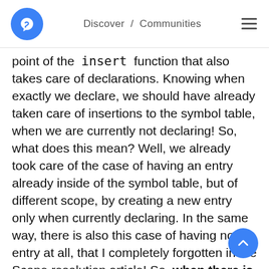Discover / Communities
point of the `insert` function that also takes care of declarations. Knowing when exactly we declare, we should have already taken care of insertions to the symbol table, when we are currently not declaring! So, what does this mean? Well, we already took care of the case of having an entry already inside of the symbol table, but of different scope, by creating a new entry only when currently declaring. In the same way, there is also this case of having no entry at all, that I completely forgotten in the Scope resolution article! So, when there is no entry yet, we should only add an entry when currently declaring. BUT, to take care of function calls, we should add the identifier either